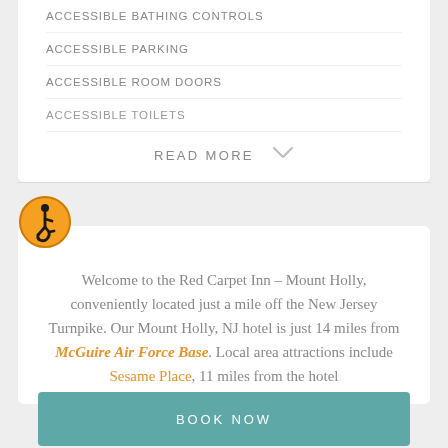ACCESSIBLE BATHING CONTROLS
ACCESSIBLE PARKING
ACCESSIBLE ROOM DOORS
ACCESSIBLE TOILETS
READ MORE
[Figure (illustration): Orange circular accessibility icon showing a wheelchair user symbol with black border]
Welcome to the Red Carpet Inn – Mount Holly, conveniently located just a mile off the New Jersey Turnpike. Our Mount Holly, NJ hotel is just 14 miles from McGuire Air Force Base. Local area attractions include Sesame Place, 11 miles from the hotel
BOOK NOW